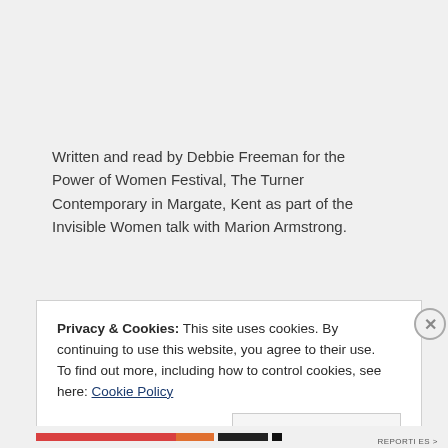Written and read by Debbie Freeman for the Power of Women Festival, The Turner Contemporary in Margate, Kent as part of the Invisible Women talk with Marion Armstrong.
Privacy & Cookies: This site uses cookies. By continuing to use this website, you agree to their use.
To find out more, including how to control cookies, see here: Cookie Policy